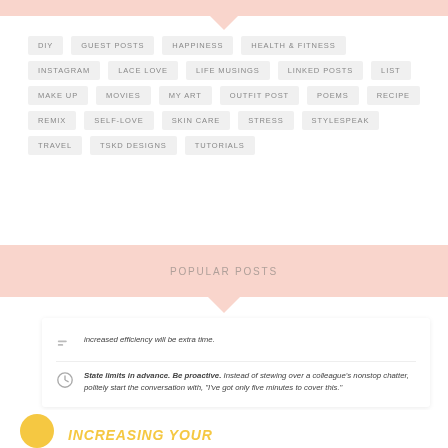DIY
GUEST POSTS
HAPPINESS
HEALTH & FITNESS
INSTAGRAM
LACE LOVE
LIFE MUSINGS
LINKED POSTS
LIST
MAKE UP
MOVIES
MY ART
OUTFIT POST
POEMS
RECIPE
REMIX
SELF-LOVE
SKIN CARE
STRESS
STYLESPEAK
TRAVEL
TSKD DESIGNS
TUTORIALS
POPULAR POSTS
increased efficiency will be extra time.
State limits in advance. Be proactive. Instead of stewing over a colleague's nonstop chatter, politely start the conversation with, "I've got only five minutes to cover this."
INCREASING YOUR